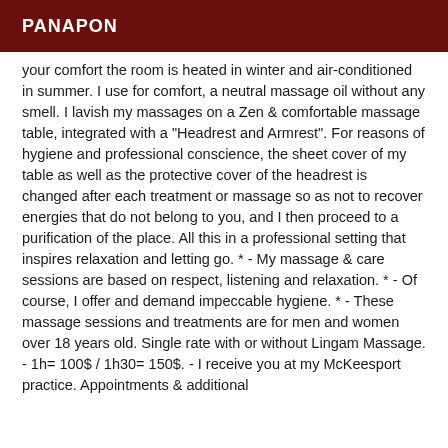PANAPON
your comfort the room is heated in winter and air-conditioned in summer. I use for comfort, a neutral massage oil without any smell. I lavish my massages on a Zen & comfortable massage table, integrated with a "Headrest and Armrest". For reasons of hygiene and professional conscience, the sheet cover of my table as well as the protective cover of the headrest is changed after each treatment or massage so as not to recover energies that do not belong to you, and I then proceed to a purification of the place. All this in a professional setting that inspires relaxation and letting go. * - My massage & care sessions are based on respect, listening and relaxation. * - Of course, I offer and demand impeccable hygiene. * - These massage sessions and treatments are for men and women over 18 years old. Single rate with or without Lingam Massage. - 1h= 100$ / 1h30= 150$. - I receive you at my McKeesport practice. Appointments & additional